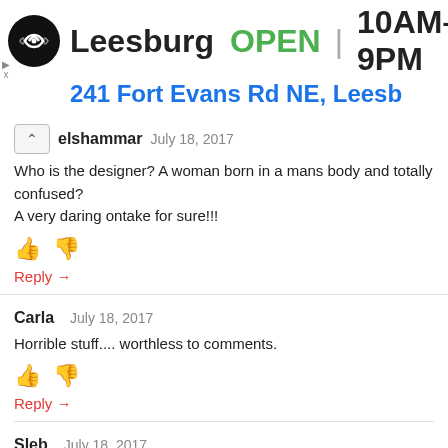[Figure (screenshot): Google Maps / business listing ad banner showing Leesburg store, OPEN, hours 10AM-9PM, address 241 Fort Evans Rd NE, Leesb]
elshammar July 18, 2017
Who is the designer? A woman born in a mans body and totally confused?
A very daring ontake for sure!!!
Reply →
Carla July 18, 2017
Horrible stuff.... worthless to comments.
Reply →
Sleb July 18, 2017